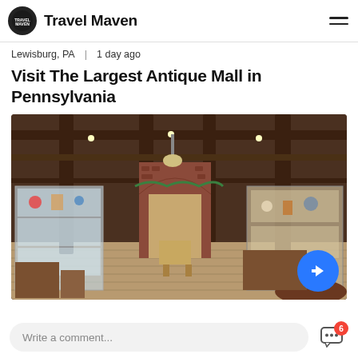Travel Maven
Lewisburg, PA  |  1 day ago
Visit The Largest Antique Mall in Pennsylvania
[Figure (photo): Interior of a large antique mall with wooden beam ceiling, glass display cases filled with antiques and collectibles, brick archway in the background, wood plank flooring, and vintage furniture and items displayed throughout.]
Write a comment...